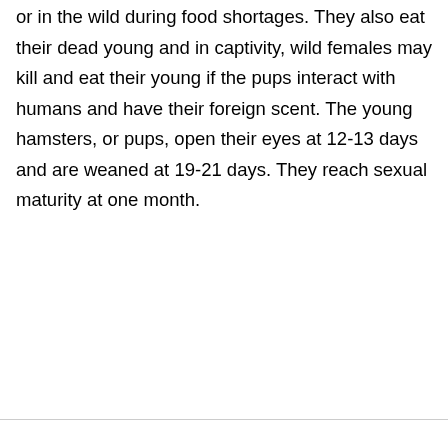or in the wild during food shortages. They also eat their dead young and in captivity, wild females may kill and eat their young if the pups interact with humans and have their foreign scent. The young hamsters, or pups, open their eyes at 12-13 days and are weaned at 19-21 days. They reach sexual maturity at one month.